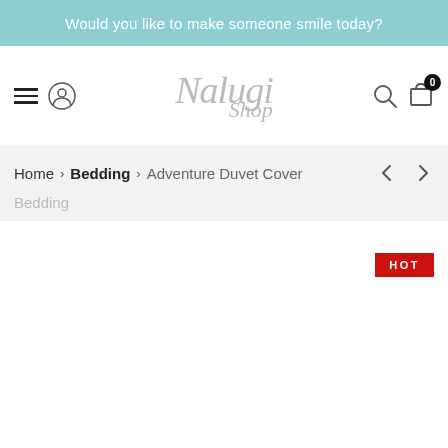Would you like to make someone smile today?
[Figure (logo): Nalugi Shop logo in cursive gray font, centered in the header navigation bar with hamburger menu, user icon, search icon, and cart with 0 badge]
Home > Bedding > Adventure Duvet Cover
Bedding
HOT